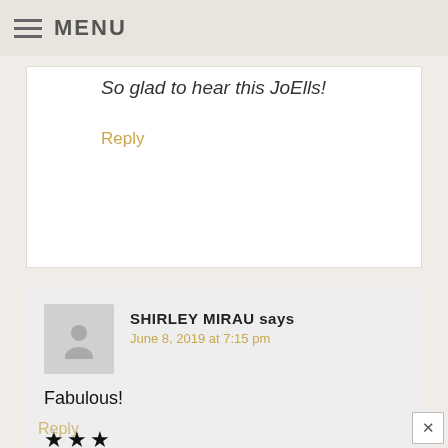MENU
So glad to hear this JoElls!
Reply
SHIRLEY MIRAU says
June 8, 2019 at 7:15 pm
Fabulous!
★★★
Reply